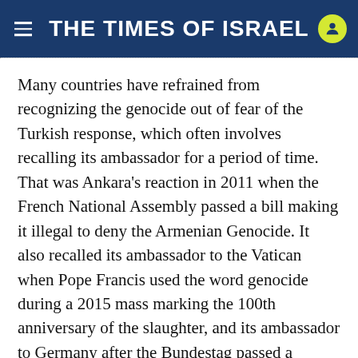THE TIMES OF ISRAEL
Many countries have refrained from recognizing the genocide out of fear of the Turkish response, which often involves recalling its ambassador for a period of time. That was Ankara's reaction in 2011 when the French National Assembly passed a bill making it illegal to deny the Armenian Genocide. It also recalled its ambassador to the Vatican when Pope Francis used the word genocide during a 2015 mass marking the 100th anniversary of the slaughter, and its ambassador to Germany after the Bundestag passed a resolution calling the murder of Armenians a genocide in 2016.
Erdogan is unlikely to take that step against the US.